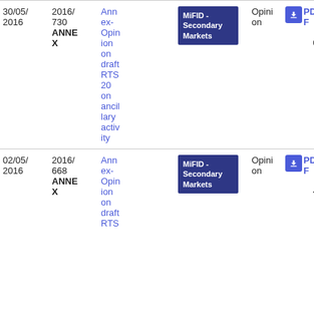| Date | Reference | Title | Topic | Type | File |
| --- | --- | --- | --- | --- | --- |
| 30/05/2016 | 2016/730 ANNEX | Annex-Opinion on draft RTS 20 on ancillary activity | MiFID - Secondary Markets | Opinion | PDF 220.42 KB |
| 02/05/2016 | 2016/668 ANNEX | Annex-Opinion on draft RTS | MiFID - Secondary Markets | Opinion | PDF 124.02 KB |